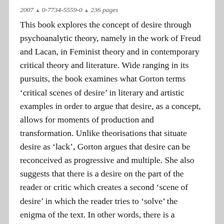2007 ▲ 0-7734-5559-0 ▲ 236 pages
This book explores the concept of desire through psychoanalytic theory, namely in the work of Freud and Lacan, in Feminist theory and in contemporary critical theory and literature. Wide ranging in its pursuits, the book examines what Gorton terms ‘critical scenes of desire’ in literary and artistic examples in order to argue that desire, as a concept, allows for moments of production and transformation. Unlike theorisations that situate desire as ‘lack’, Gorton argues that desire can be reconceived as progressive and multiple. She also suggests that there is a desire on the part of the reader or critic which creates a second ‘scene of desire’ in which the reader tries to ‘solve’ the enigma of the text. In other words, there is a tendency on the part of the critic and reader to want to fill in the